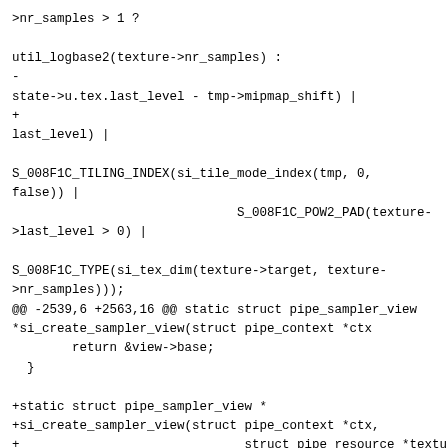>nr_samples > 1 ?

util_logbase2(texture->nr_samples) :
-
state->u.tex.last_level - tmp->mipmap_shift) |
+
last_level) |

S_008F1C_TILING_INDEX(si_tile_mode_index(tmp, 0,
false)) |
                              S_008F1C_POW2_PAD(texture->last_level > 0) |

S_008F1C_TYPE(si_tex_dim(texture->target, texture->nr_samples)));
@@ -2539,6 +2563,16 @@ static struct pipe_sampler_view
*si_create_sampler_view(struct pipe_context *ctx
        return &view->base;
  }

+static struct pipe_sampler_view *
+si_create_sampler_view(struct pipe_context *ctx,
+                              struct pipe_resource *texture,
+                              const struct pipe_sampler_view
*state)
+{
+        return si_create_sampler_view_custom(ctx,
texture, state,
+                                              texture ?
texture->width0 : 0,